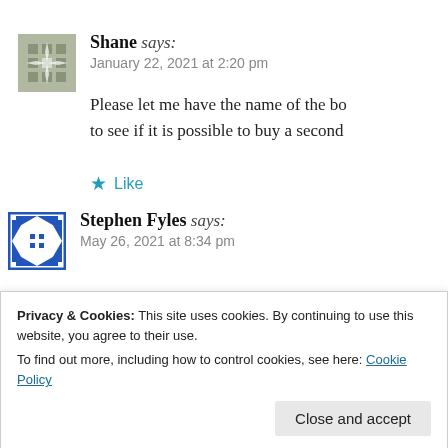Shane says: January 22, 2021 at 2:20 pm
Please let me have the name of the bo to see if it is possible to buy a second
★ Like
Stephen Fyles says: May 26, 2021 at 8:34 pm
Hi. If you would like to donate the bo donating it to The Greig Trust whose
Privacy & Cookies: This site uses cookies. By continuing to use this website, you agree to their use. To find out more, including how to control cookies, see here: Cookie Policy
Close and accept